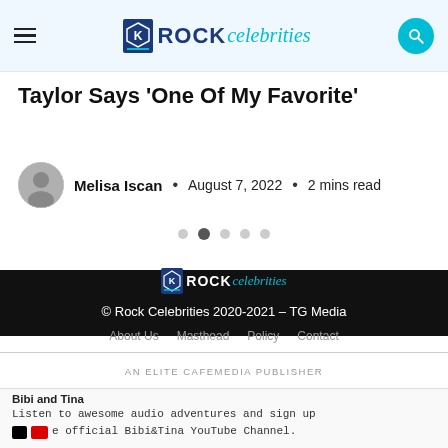Rock Celebrities
Taylor Says 'One Of My Favorite'
Melisa Iscan · August 7, 2022 · 2 mins read
[Figure (other): Slide navigation dots, second dot active]
[Figure (logo): Rock Celebrities footer logo (small, white/cyan on black)]
© Rock Celebrities 2020-2021 – TG Media
About Us   Masthead   Policy   Contact
AN ELITE CAFEMEDIA PUBLISHER
Bibi and Tina
Listen to awesome audio adventures and sign up
e official Bibi&Tina YouTube Channel.